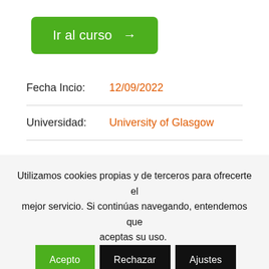Ir al curso →
Fecha Incio:  12/09/2022
Universidad:  University of Glasgow
Utilizamos cookies propias y de terceros para ofrecerte el mejor servicio. Si continúas navegando, entendemos que aceptas su uso.
Acepto
Rechazar
Ajustes
Leer más